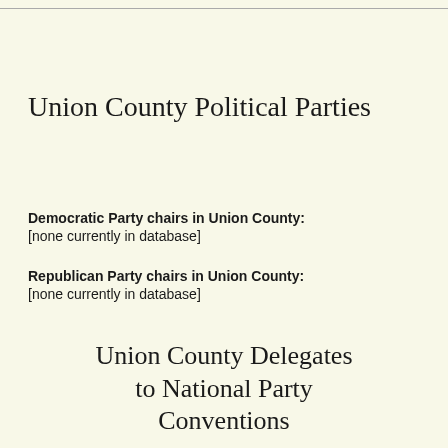Union County Political Parties
Democratic Party chairs in Union County:
[none currently in database]
Republican Party chairs in Union County:
[none currently in database]
Union County Delegates to National Party Conventions